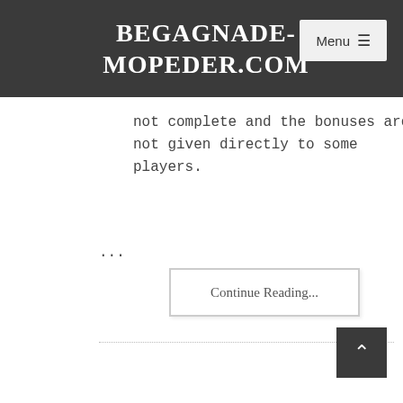BEGAGNADE-MOPEDER.COM
not complete and the bonuses are not given directly to some players.
...
Continue Reading...